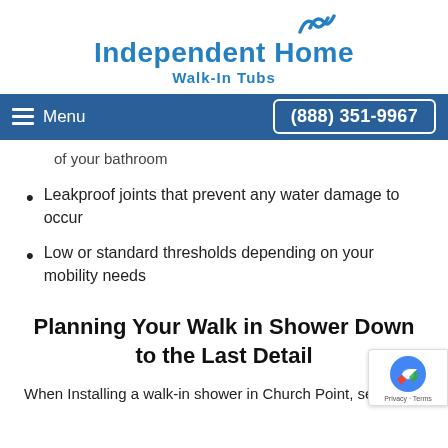Independent Home Walk-In Tubs
Menu  (888) 351-9967
of your bathroom
Leakproof joints that prevent any water damage to occur
Low or standard thresholds depending on your mobility needs
Planning Your Walk in Shower Down to the Last Detail
When Installing a walk-in shower in Church Point, several